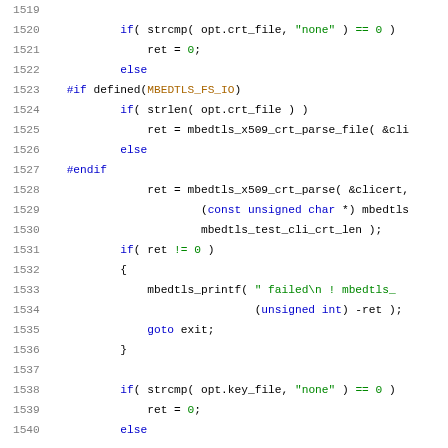Source code listing lines 1519-1540, C programming language with syntax highlighting